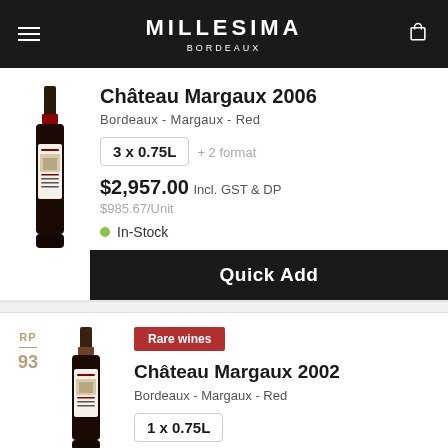MILLESIMA BORDEAUX
Château Margaux 2006
Bordeaux - Margaux - Red
3 x 0.75L + 2 format
$2,957.00 Incl. GST & DP
$985.67/Unit
In-Stock
Quick Add
Rare wines
Château Margaux 2002
Bordeaux - Margaux - Red
1 x 0.75L